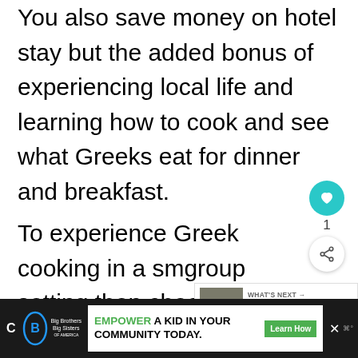You also save money on hotel stay but the added bonus of experiencing local life and learning how to cook and see what Greeks eat for dinner and breakfast.
To experience Greek cooking in a small group setting then check out the hour Small Group Athens Cooking
[Figure (other): Heart/like button (teal circle with heart icon), like count '1', and share button (white circle with share icon)]
[Figure (other): What's Next panel showing thumbnail image and text 'Top 10 Things To Do In...']
[Figure (other): Bottom advertisement bar: Big Brothers Big Sisters logo, 'EMPOWER A KID IN YOUR COMMUNITY TODAY.' with green Learn How button, close and other icons]